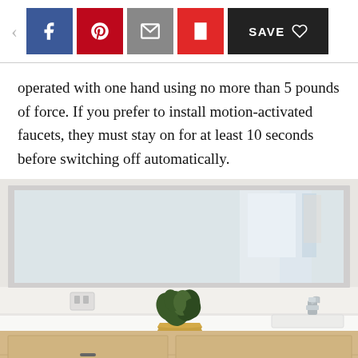Social share toolbar with Facebook, Pinterest, Email, Flipboard, and Save buttons
operated with one hand using no more than 5 pounds of force. If you prefer to install motion-activated faucets, they must stay on for at least 10 seconds before switching off automatically.
[Figure (photo): Modern bathroom vanity with white countertop, rectangular undermount sink, chrome single-handle faucet, small green plant in a gold pot, and a large frameless mirror above the counter.]